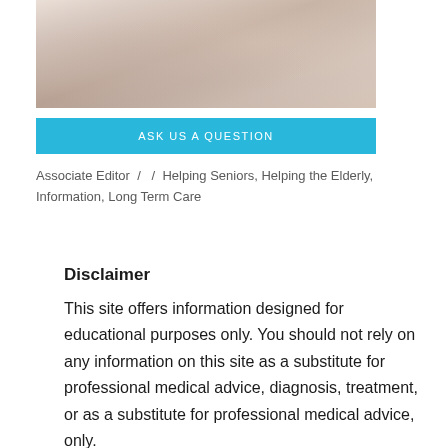[Figure (photo): Photo of an elderly person being assisted by a caregiver, showing hands and partial upper body view]
ASK US A QUESTION
Associate Editor / / Helping Seniors, Helping the Elderly, Information, Long Term Care
Disclaimer
This site offers information designed for educational purposes only. You should not rely on any information on this site as a substitute for professional medical advice, diagnosis, treatment, or as a substitute for professional medical advice...